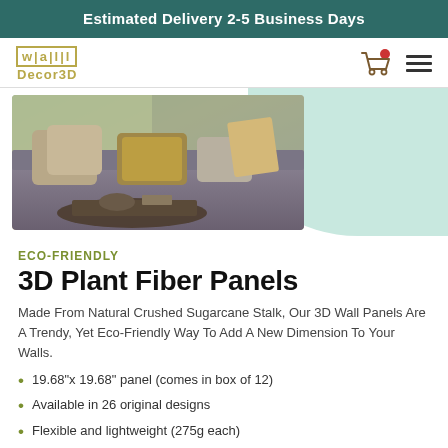Estimated Delivery 2-5 Business Days
[Figure (logo): Wall Decor3D logo with golden/olive color scheme]
[Figure (photo): Interior photo of a couch with decorative pillows and a wooden tray, against a mint green background]
ECO-FRIENDLY
3D Plant Fiber Panels
Made From Natural Crushed Sugarcane Stalk, Our 3D Wall Panels Are A Trendy, Yet Eco-Friendly Way To Add A New Dimension To Your Walls.
19.68"x 19.68" panel (comes in box of 12)
Available in 26 original designs
Flexible and lightweight (275g each)
Natural off-white color (easily paintable)